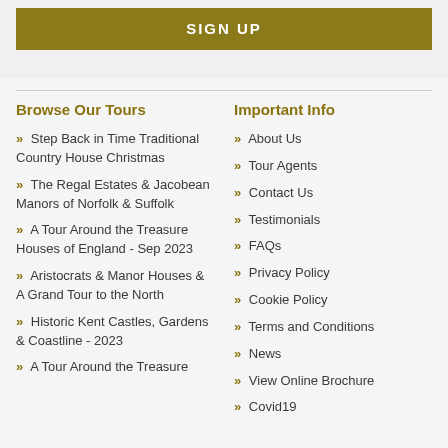SIGN UP
Browse Our Tours
Step Back in Time Traditional Country House Christmas
The Regal Estates & Jacobean Manors of Norfolk & Suffolk
A Tour Around the Treasure Houses of England - Sep 2023
Aristocrats & Manor Houses & A Grand Tour to the North
Historic Kent Castles, Gardens & Coastline - 2023
A Tour Around the Treasure
Important Info
About Us
Tour Agents
Contact Us
Testimonials
FAQs
Privacy Policy
Cookie Policy
Terms and Conditions
News
View Online Brochure
Covid19